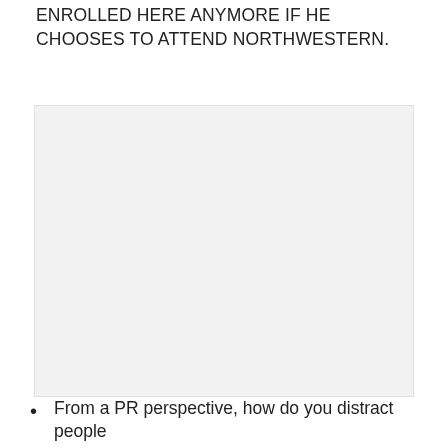ENROLLED HERE ANYMORE IF HE CHOOSES TO ATTEND NORTHWESTERN.
[Figure (other): Redacted/blacked-out content block]
From a PR perspective, how do you distract people